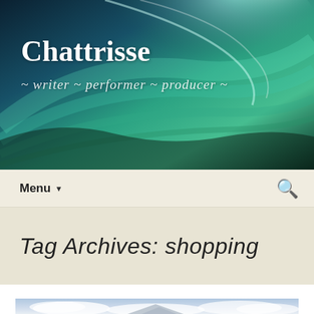[Figure (photo): Abstract aurora borealis / swirling teal and green light on dark blue background used as website header banner]
Chattrisse
~ writer ~ performer ~ producer ~
Menu ▼
Tag Archives: shopping
[Figure (photo): Partial view of a cloudy sky photograph at the bottom of the page]